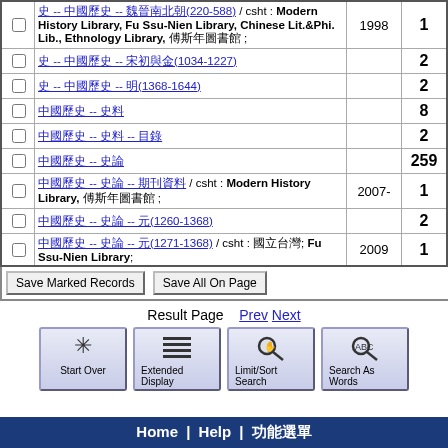| check | title | year | count |
| --- | --- | --- | --- |
| □ | 史 -- 中國歷史 -- 魏晉南北朝(220-588) / csht : Modern History Library, Fu Ssu-Nien Library, Chinese Lit.&Phi. Lib., Ethnology Library, 傅斯年圖書館 ; | 1998 | 1 |
| □ | 史 -- 中國歷史 -- 宋初與金(1034-1227) |  | 2 |
| □ | 史 -- 中國歷史 -- 明(1368-1644) |  | 2 |
| □ | 中國歷史 -- 史料 |  | 8 |
| □ | 中國歷史 -- 史料 -- 目錄 |  | 2 |
| □ | 中國歷史 -- 史論 |  | 259 |
| □ | 中國歷史 -- 史論 -- 期刊資料 / csht : Modern History Library, 傅斯年圖書館 ; | 2007- | 1 |
| □ | 中國歷史 -- 史論 -- 元(1260-1368) |  | 2 |
| □ | 中國歷史 -- 史論 -- 元(1271-1368) / csht : 國立台灣; Fu Ssu-Nien Library; | 2009 | 1 |
Save Marked Records   Save All On Page
Result Page  Prev  Next
[Figure (screenshot): Navigation buttons: Start Over, Extended Display, Limit/Sort Search, Search As Words]
Home | Help | 功能選單